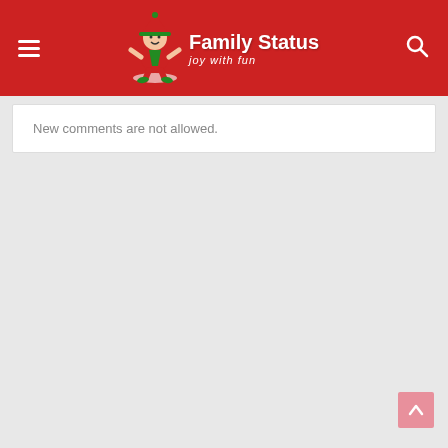Family Status – joy with fun
New comments are not allowed.
[Figure (illustration): Scroll-to-top button with upward arrow, pink/light red background]